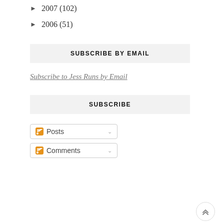► 2007 (102)
► 2006 (51)
SUBSCRIBE BY EMAIL
Subscribe to Jess Runs by Email
SUBSCRIBE
Posts
Comments